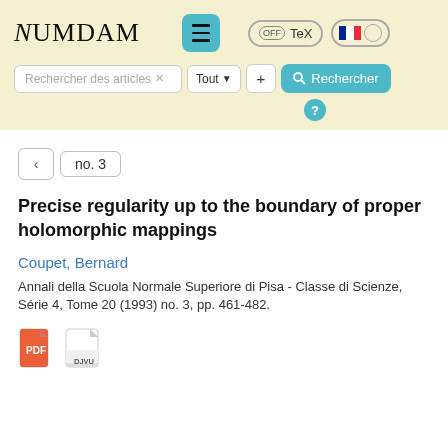NUMDAM — search interface header with menu, TeX toggle, language toggle, search bar
no. 3
Precise regularity up to the boundary of proper holomorphic mappings
Coupet, Bernard
Annali della Scuola Normale Superiore di Pisa - Classe di Scienze, Série 4, Tome 20 (1993) no. 3, pp. 461-482.
[Figure (other): PDF and DJVU file download icons]